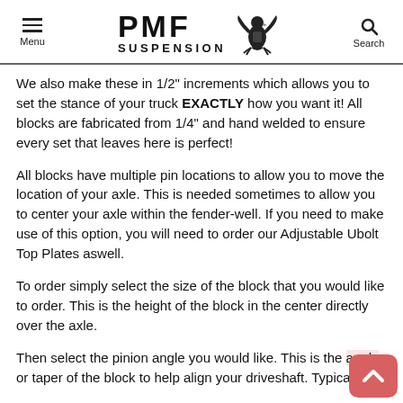PMF SUSPENSION (logo with eagle, Menu and Search icons)
We also make these in 1/2" increments which allows you to set the stance of your truck EXACTLY how you want it!  All blocks are fabricated from 1/4" and hand welded to ensure every set that leaves here is perfect!
All blocks have multiple pin locations to allow you to move the location of your axle.  This is needed sometimes to allow you to center your axle within the fender-well.  If you need to make use of this option, you will need to order our Adjustable Ubolt Top Plates aswell.
To order simply select the size of the block that you would like to order.  This is the height of the block in the center directly over the axle.
Then select the pinion angle you would like.  This is the angle or taper of the block to help align your driveshaft.  Typically